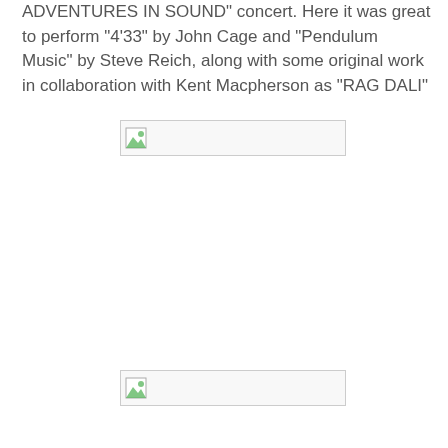ADVENTURES IN SOUND" concert. Here it was great to perform "4'33" by John Cage and "Pendulum Music" by Steve Reich, along with some original work in collaboration with Kent Macpherson as "RAG DALI"
[Figure (photo): Broken/unloaded image placeholder 1]
[Figure (photo): Broken/unloaded image placeholder 2]